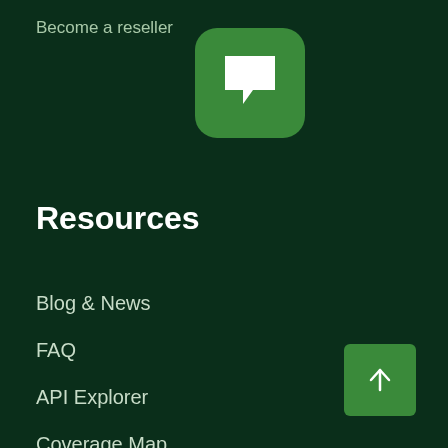Become a reseller
[Figure (logo): Green rounded square icon with a white chat/message bubble symbol]
Resources
Blog & News
FAQ
API Explorer
Coverage Map
Terms & Conditions
Privacy Policy
Cookie Policy
[Figure (illustration): Green square button with upward arrow (back to top button)]